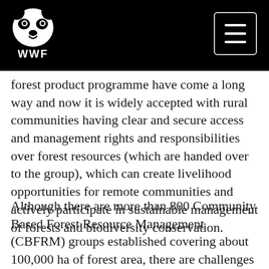WWF logo and navigation header
forest product programme have come a long way and now it is widely accepted with rural communities having clear and secure access and management rights and responsibilities over forest resources (which are handed over to the group), which can create livelihood opportunities for remote communities and actively participate in sustainable management of forests and biodiversity conservation.
Although there are more than 800 Community Based Forest Resource Management (CBFRM) groups established covering about 100,000 ha of forest area, there are challenges at hand that